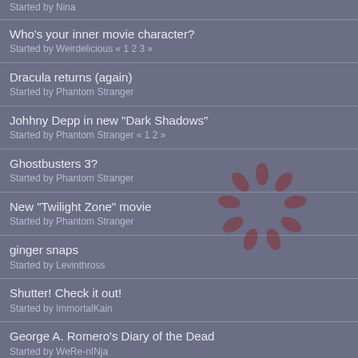Who's your inner movie character?
Started by Weirdelicious « 1 2 3 »
Dracula returns (again)
Started by Phantom Stranger
Johhny Depp in new "Dark Shadows"
Started by Phantom Stranger « 1 2 »
Ghostbusters 3?
Started by Phantom Stranger
New "Twilight Zone" movie
Started by Phantom Stranger
ginger snaps
Started by Levinthross
Shutter! Check it out!
Started by ImmortalKain
George A. Romero's Diary of the Dead
Started by WeRe-nINja
"The Tingler" remake is coming
Started by Phantom Stranger
"Scanners: :the remake
Started by Phantom Stranger
Director leaves "The Wolfman"
Started by Phantom Stranger